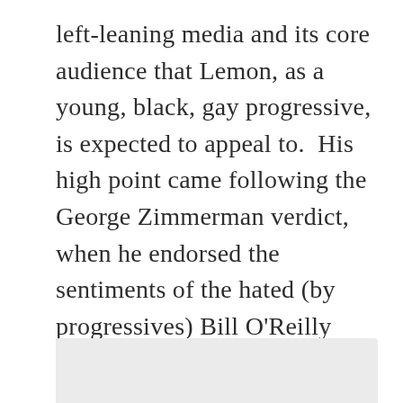left-leaning media and its core audience that Lemon, as a young, black, gay progressive, is expected to appeal to.  His high point came following the George Zimmerman verdict, when he endorsed the sentiments of the hated (by progressives) Bill O'Reilly who had criticized toxic and self-destructive strains in American black culture. Lemon said,